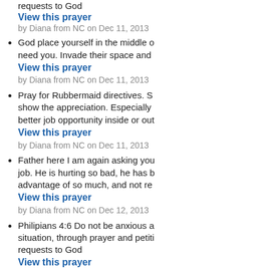requests to God
View this prayer
by Diana from NC on Dec 11, 2013
God place yourself in the middle o... need you. Invade their space and...
View this prayer
by Diana from NC on Dec 11, 2013
Pray for Rubbermaid directives. S... show the appreciation. Especially ... better job opportunity inside or out...
View this prayer
by Diana from NC on Dec 11, 2013
Father here I am again asking you... job. He is hurting so bad, he has b... advantage of so much, and not re...
View this prayer
by Diana from NC on Dec 12, 2013
Philipians 4:6 Do not be anxious a... situation, through prayer and petiti... requests to God
View this prayer
by Diana from NC on Dec 12, 2013
I pray for Sandra and her husban... allow her to have the amazing gift...
View this prayer
by Diana from NC on Dec 12, 2013
Pray for Rubbermaid directives. S...